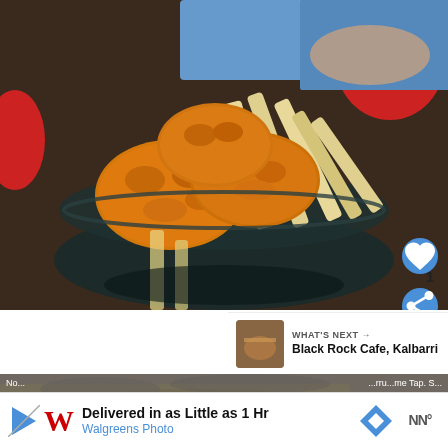[Figure (photo): A bowl of breaded fried food items (chicken nuggets/fish) with french fries, sitting on a dark table surface. A child in a blue shirt is visible in the background along with red chairs.]
[Figure (photo): Partial view of a second food photo showing what appears to be fish or grilled food.]
WHAT'S NEXT →
Black Rock Cafe, Kalbarri
Delivered in as Little as 1 Hr
Walgreens Photo